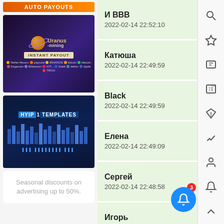[Figure (screenshot): Orange AUTO PAYOUTS banner at top of left sidebar]
[Figure (illustration): Uranus Mining advertisement with planet logo, INSTANT PAYOUT label, and crypto coin logos]
[Figure (illustration): HYIP TEMPLATES advertisement with dark blue background and wave/text graphic]
Seasonal discounts on advertising up to 50%.
И ВВВ
2022-02-14 22:52:10
Катюша
2022-02-14 22:49:59
Black
2022-02-14 22:49:59
Елена
2022-02-14 22:49:09
Сергей
2022-02-14 22:48:58
Игорь
2022-02-14 22:48:04